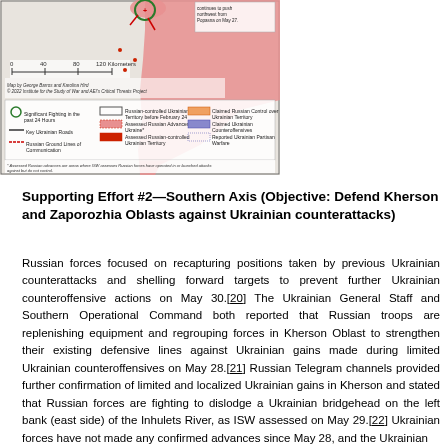[Figure (map): ISW map of Ukraine conflict showing Russian-controlled territory (shaded pink/red), significant fighting locations, Russian advances, Ukrainian counterattacks, and other military positions as of May 2022. Includes scale bar (0-40-80-120 kilometers), legend with symbols for significant fighting, Ukrainian roads, Russian ground lines of communication, assessed Russian advances, assessed Russian-controlled territory, claimed Russian control, claimed Ukrainian counteroffensives, reported Ukrainian partisan warfare. Map credit: George Barros and Karolina Hird; © 2022 Institute for the Study of War and AEI's Critical Threats Project. Footnote: Assessed Russian advances are areas where ISW assesses Russian forces have operated in or launched attacks against but do not control.]
Supporting Effort #2—Southern Axis (Objective: Defend Kherson and Zaporozhia Oblasts against Ukrainian counterattacks)
Russian forces focused on recapturing positions taken by previous Ukrainian counterattacks and shelling forward targets to prevent further Ukrainian counteroffensive actions on May 30.[20] The Ukrainian General Staff and Southern Operational Command both reported that Russian troops are replenishing equipment and regrouping forces in Kherson Oblast to strengthen their existing defensive lines against Ukrainian gains made during limited Ukrainian counteroffensives on May 28.[21] Russian Telegram channels provided further confirmation of limited and localized Ukrainian gains in Kherson and stated that Russian forces are fighting to dislodge a Ukrainian bridgehead on the left bank (east side) of the Inhulets River, as ISW assessed on May 29.[22] Ukrainian forces have not made any confirmed advances since May 28, and the Ukrainian counteroffensive in northern Kherson Oblast is likely aimed at creating a